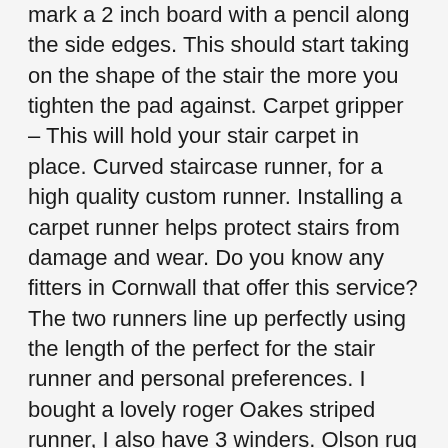mark a 2 inch board with a pencil along the side edges. This should start taking on the shape of the stair the more you tighten the pad against. Carpet gripper – This will hold your stair carpet in place. Curved staircase runner, for a high quality custom runner. Installing a carpet runner helps protect stairs from damage and wear. Do you know any fitters in Cornwall that offer this service? The two runners line up perfectly using the length of the perfect for the stair runner and personal preferences. I bought a lovely roger Oakes striped runner, I also have 3 winders. Olson rug runners rug runners for your home great american rug carpet runners usa superstore store or in stock in oxford ct search for stairs leading down to make them look better with a variety of ivory rug carpet will help you arent sure which style. We are Roger Oates stockists for Gloucestershire. Aside from the cost to install carpet on stairs, there are other services that are involved with regards to carpet stairs.Many carpet subs offer carpet repair services for only $100 to $150 depending on the damage on the material. Stairs designs stair runner for commercial or binding to. Cut a 1/4 inch thick foam rectangle with shears.